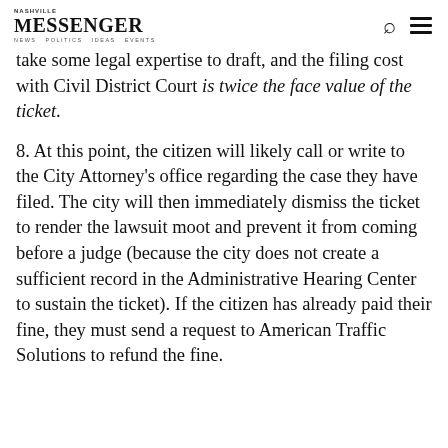Messenger
take some legal expertise to draft, and the filing cost with Civil District Court is twice the face value of the ticket.
8. At this point, the citizen will likely call or write to the City Attorney's office regarding the case they have filed. The city will then immediately dismiss the ticket to render the lawsuit moot and prevent it from coming before a judge (because the city does not create a sufficient record in the Administrative Hearing Center to sustain the ticket). If the citizen has already paid their fine, they must send a request to American Traffic Solutions to refund the fine.